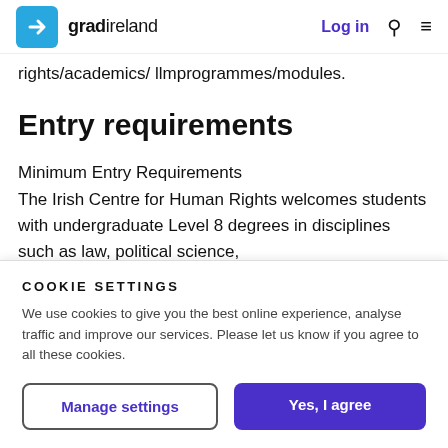gradireland — Log in
rights/academics/ llmprogrammes/modules.
Entry requirements
Minimum Entry Requirements
The Irish Centre for Human Rights welcomes students with undergraduate Level 8 degrees in disciplines such as law, political science,
COOKIE SETTINGS
We use cookies to give you the best online experience, analyse traffic and improve our services. Please let us know if you agree to all these cookies.
Manage settings | Yes, I agree